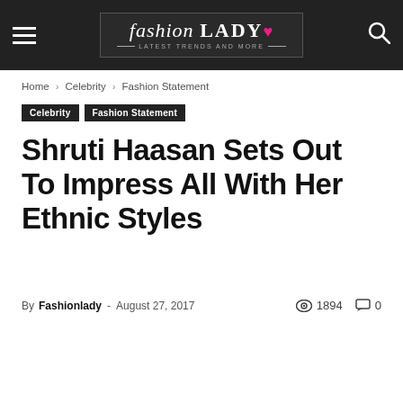Fashion Lady — Latest Trends and More
Home › Celebrity › Fashion Statement
Celebrity  Fashion Statement
Shruti Haasan Sets Out To Impress All With Her Ethnic Styles
By Fashionlady - August 27, 2017  1894  0